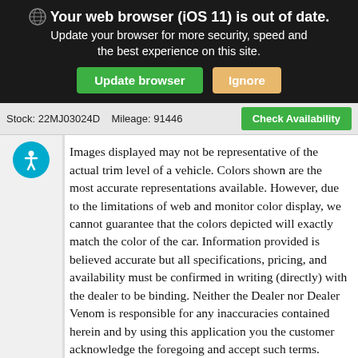Your web browser (iOS 11) is out of date. Update your browser for more security, speed and the best experience on this site.
Update browser   Ignore
Stock: 22MJ03024D   Mileage: 91446
Check Availability
Images displayed may not be representative of the actual trim level of a vehicle. Colors shown are the most accurate representations available. However, due to the limitations of web and monitor color display, we cannot guarantee that the colors depicted will exactly match the color of the car. Information provided is believed accurate but all specifications, pricing, and availability must be confirmed in writing (directly) with the dealer to be binding. Neither the Dealer nor Dealer Venom is responsible for any inaccuracies contained herein and by using this application you the customer acknowledge the foregoing and accept such terms.